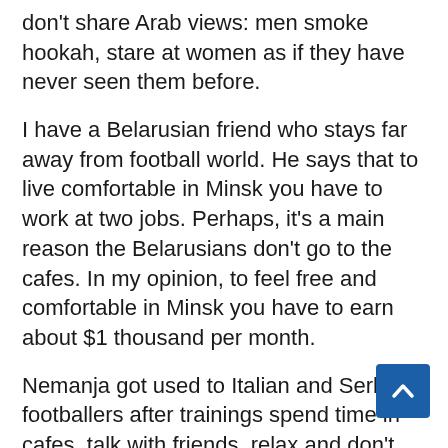don't share Arab views: men smoke hookah, stare at women as if they have never seen them before.
I have a Belarusian friend who stays far away from football world. He says that to live comfortable in Minsk you have to work at two jobs. Perhaps, it's a main reason the Belarusians don't go to the cafes. In my opinion, to feel free and comfortable in Minsk you have to earn about $1 thousand per month.
Nemanja got used to Italian and Serbian footballers after trainings spend time in cafes, talk with friends, relax and don't care about anything until 8 p.m.
– But Belarusian sportsmen have to hurry off somewhere. I can't imagine what they do acce football. In Minsk my life is pretty boring: I work,